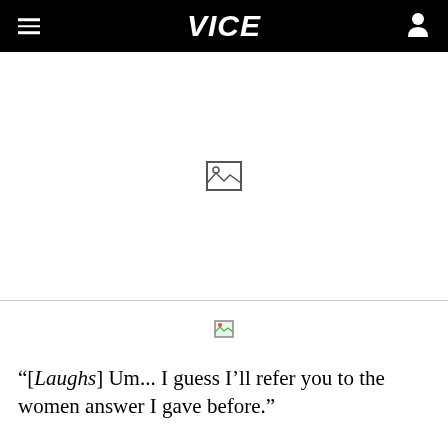VICE
[Figure (photo): Large image placeholder (broken/loading image) centered in white area]
[Figure (photo): Small broken image icon centered below divider]
"[Laughs] Um... I guess I'll refer you to the women answer I gave before."